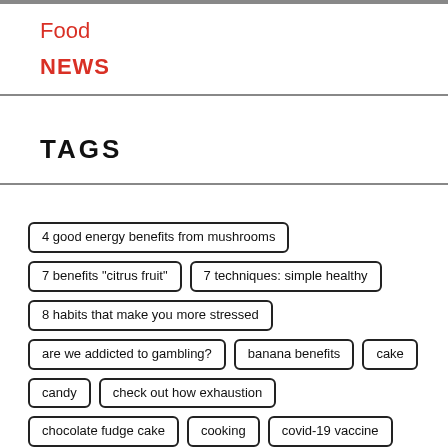Food
NEWS
TAGS
4 good energy benefits from mushrooms
7 benefits "citrus fruit"
7 techniques: simple healthy
8 habits that make you more stressed
are we addicted to gambling?
banana benefits
cake
candy
check out how exhaustion
chocolate fudge cake
cooking
covid-19 vaccine
cream mushroom soup
dessert
drink
easycook
easymenu
easy way to make sticky rice with coconut milk.
food
gambling addiction is a mental disorder.
healthy